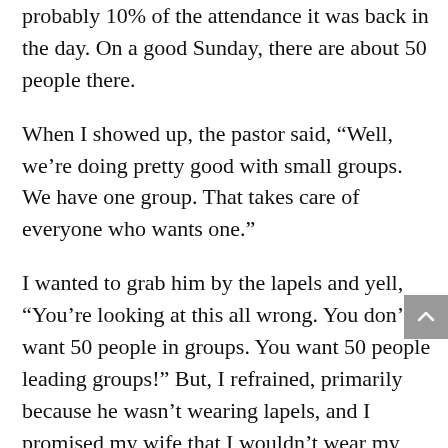probably 10% of the attendance it was back in the day. On a good Sunday, there are about 50 people there.
When I showed up, the pastor said, “Well, we’re doing pretty good with small groups. We have one group. That takes care of everyone who wants one.”
I wanted to grab him by the lapels and yell, “You’re looking at this all wrong. You don’t want 50 people in groups. You want 50 people leading groups!” But, I refrained, primarily because he wasn’t wearing lapels, and I promised my wife that I wouldn’t wear my consulting hat to church. I just sit there biting my tongue (until I’m asked). This is also a good marriage lesson for some.